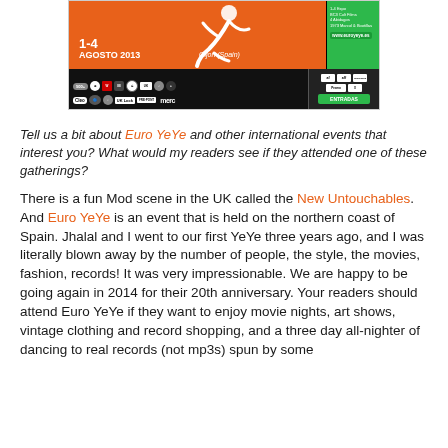[Figure (illustration): Euro YeYe festival poster for 1-4 Agosto 2013 in Gijon, Spain, with orange and green design, sponsor logos including Cleo, merc, and others at the bottom]
Tell us a bit about Euro YeYe and other international events that interest you? What would my readers see if they attended one of these gatherings?
There is a fun Mod scene in the UK called the New Untouchables. And Euro YeYe is an event that is held on the northern coast of Spain. Jhalal and I went to our first YeYe three years ago, and I was literally blown away by the number of people, the style, the movies, fashion, records! It was very impressionable. We are happy to be going again in 2014 for their 20th anniversary. Your readers should attend Euro YeYe if they want to enjoy movie nights, art shows, vintage clothing and record shopping, and a three day all-nighter of dancing to real records (not mp3s) spun by some of great DJs. I really the are in a scheduled night on the